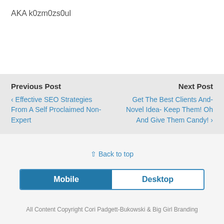AKA k0zm0zs0ul
Previous Post
‹ Effective SEO Strategies From A Self Proclaimed Non-Expert
Next Post
Get The Best Clients And- Novel Idea- Keep Them! Oh And Give Them Candy! ›
⇧ Back to top
Mobile   Desktop
All Content Copyright Cori Padgett-Bukowski & Big Girl Branding